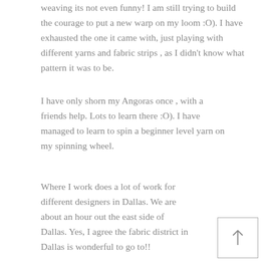weaving its not even funny! I am still trying to build the courage to put a new warp on my loom :O). I have exhausted the one it came with, just playing with different yarns and fabric strips , as I didn't know what pattern it was to be.
I have only shorn my Angoras once , with a friends help. Lots to learn there :O). I have managed to learn to spin a beginner level yarn on my spinning wheel.
Where I work does a lot of work for different designers in Dallas. We are about an hour out the east side of Dallas. Yes, I agree the fabric district in Dallas is wonderful to go to!!